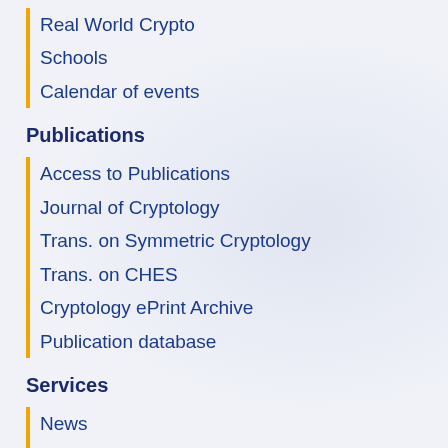Real World Crypto
Schools
Calendar of events
Publications
Access to Publications
Journal of Cryptology
Trans. on Symmetric Cryptology
Trans. on CHES
Cryptology ePrint Archive
Publication database
Services
News
Awards
Jobs
Update your information
How to join
About the IACR